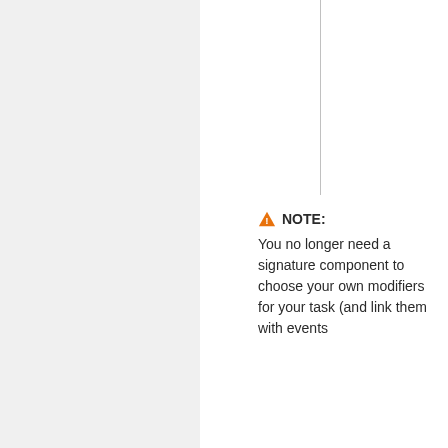NOTE: You no longer need a signature component to choose your own modifiers for your task (and link them with events